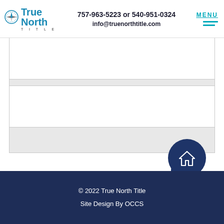[Figure (logo): True North Title logo with compass icon and text]
757-963-5223 or 540-951-0324
info@truenorthtitle.com
MENU
[Figure (other): Empty white content blocks with gray dividers and background sections]
[Figure (illustration): Home icon inside dark navy circle with tab, floating above footer]
© 2022 True North Title
Site Design By OCCS